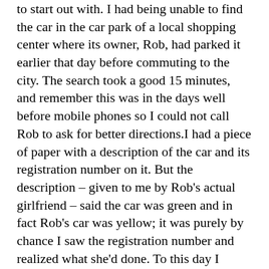to start out with. I had being unable to find the car in the car park of a local shopping center where its owner, Rob, had parked it earlier that day before commuting to the city. The search took a good 15 minutes, and remember this was in the days well before mobile phones so I could not call Rob to ask for better directions.I had a piece of paper with a description of the car and its registration number on it. But the description – given to me by Rob's actual girlfriend – said the car was green and in fact Rob's car was yellow; it was purely by chance I saw the registration number and realized what she'd done. To this day I maintain it was deliberate. She says it was a mistake. She may have been telling the truth; she certainly was stupid enough to make it.
About 20 minutes into the drive I started to feel wheel-wobble through the steering wheel. RS 2000s were fairly sporty cars, but they were, after